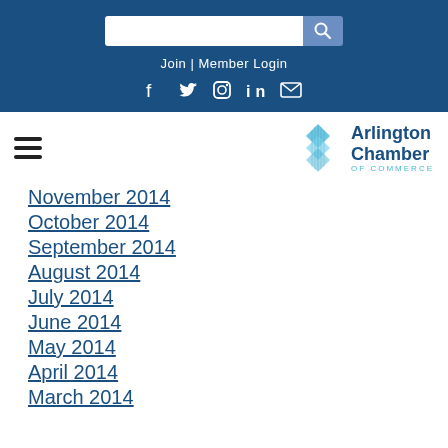[Figure (screenshot): Website header with search bar, Join | Member Login link, and social media icons on a dark blue background]
[Figure (logo): Arlington Chamber of Commerce logo with diamond/chevron icon]
November 2014
October 2014
September 2014
August 2014
July 2014
June 2014
May 2014
April 2014
March 2014